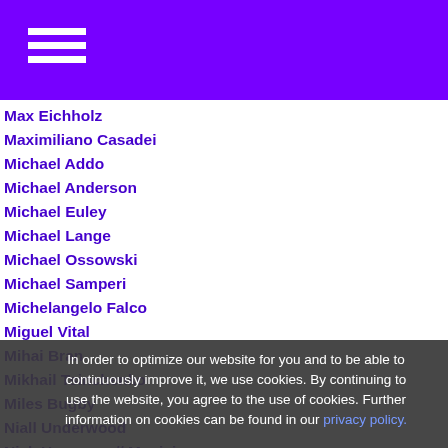Max Eichholz
Maximiliano Casadei
Michael Addo
Michael Anderson
Michael Euley
Michael Lange
Michael Ossowski
Michael Samperi
Michelangelo Falco
Miguel Vital
Mihai Bran
Mikhail Tsinchenko
Miles Bugby
Niall Underwood
Nick Heymann // Musician
Niclas Koch
Noah Huntley / Actor
Noah Teicher
Ole Schulz
Oliver …
Ora…
Paw…
Philip Channou…
Raith Clarke
Remi Bi…
Reuben …
Roger Hampson / musician
Ryan Rika
In order to optimize our website for you and to be able to continuously improve it, we use cookies. By continuing to use the website, you agree to the use of cookies. Further information on cookies can be found in our privacy policy.
OK